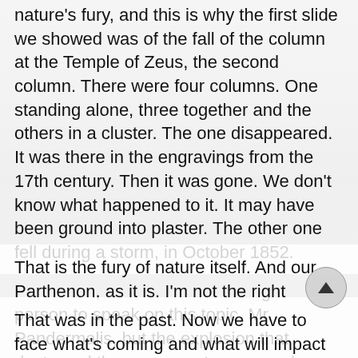nature's fury, and this is why the first slide we showed was of the fall of the column at the Temple of Zeus, the second column. There were four columns. One standing alone, three together and the others in a cluster. The one disappeared. It was there in the engravings from the 17th century. Then it was gone. We don't know what happened to it. It may have been ground into plaster. The other one fell during a storm, in October 1852.
That is the fury of nature itself. And our Parthenon, as it is. I'm not the right person to speak on this topic, Mr. Pandermalis, but the explosion that destroyed the monument surpassed even the Persian's barbarity.
That was in the past. Now we have to face what's coming and what will impact these